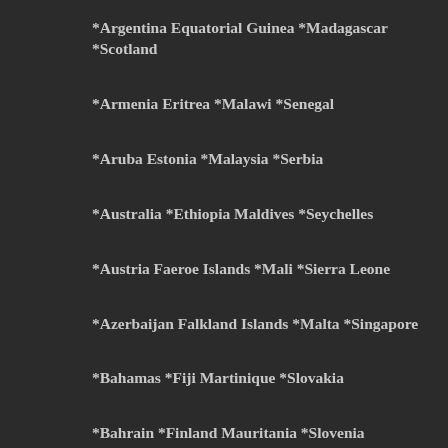*Argentina Equatorial Guinea *Madagascar *Scotland
*Armenia Eritrea *Malawi *Senegal
*Aruba Estonia *Malaysia *Serbia
*Australia *Ethiopia Maldives *Seychelles
*Austria Faeroe Islands *Mali *Sierra Leone
*Azerbaijan Falkland Islands *Malta *Singapore
*Bahamas *Fiji Martinique *Slovakia
*Bahrain *Finland Mauritania *Slovenia